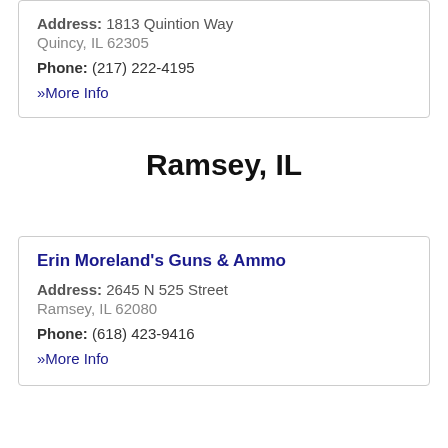Address: 1813 Quintion Way
Quincy, IL 62305
Phone: (217) 222-4195
» More Info
Ramsey, IL
Erin Moreland's Guns & Ammo
Address: 2645 N 525 Street
Ramsey, IL 62080
Phone: (618) 423-9416
» More Info